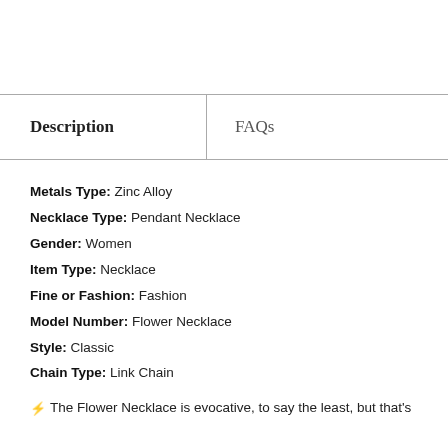| Description | FAQs |
| --- | --- |
Metals Type: Zinc Alloy
Necklace Type: Pendant Necklace
Gender: Women
Item Type: Necklace
Fine or Fashion: Fashion
Model Number: Flower Necklace
Style: Classic
Chain Type: Link Chain
⚡ The Flower Necklace is evocative, to say the least, but that's